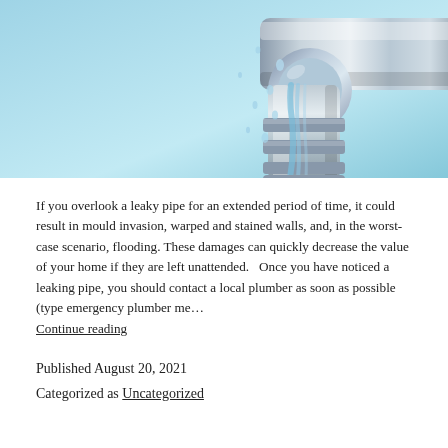[Figure (photo): A close-up photo of a chrome water faucet/pipe with water droplets falling, set against a light blue background.]
If you overlook a leaky pipe for an extended period of time, it could result in mould invasion, warped and stained walls, and, in the worst-case scenario, flooding. These damages can quickly decrease the value of your home if they are left unattended.   Once you have noticed a leaking pipe, you should contact a local plumber as soon as possible (type emergency plumber me… Continue reading
Published August 20, 2021
Categorized as Uncategorized